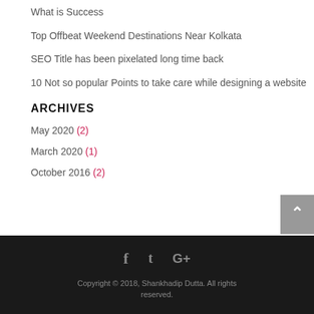What is Success
Top Offbeat Weekend Destinations Near Kolkata
SEO Title has been pixelated long time back
10 Not so popular Points to take care while designing a website
ARCHIVES
May 2020 (2)
March 2020 (1)
October 2016 (2)
Copyright © 2018, Shankhadip Dutta. All rights reserved.